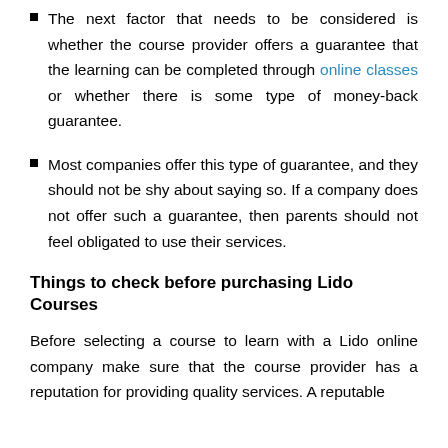The next factor that needs to be considered is whether the course provider offers a guarantee that the learning can be completed through online classes or whether there is some type of money-back guarantee.
Most companies offer this type of guarantee, and they should not be shy about saying so. If a company does not offer such a guarantee, then parents should not feel obligated to use their services.
Things to check before purchasing Lido Courses
Before selecting a course to learn with a Lido online company make sure that the course provider has a reputation for providing quality services. A reputable